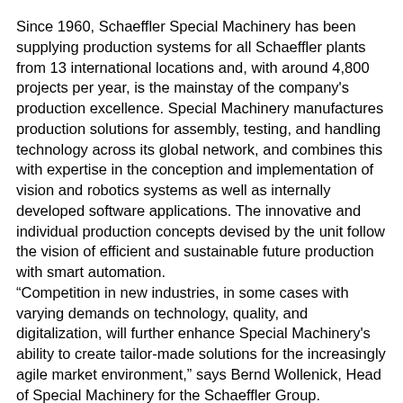Since 1960, Schaeffler Special Machinery has been supplying production systems for all Schaeffler plants from 13 international locations and, with around 4,800 projects per year, is the mainstay of the company's production excellence. Special Machinery manufactures production solutions for assembly, testing, and handling technology across its global network, and combines this with expertise in the conception and implementation of vision and robotics systems as well as internally developed software applications. The innovative and individual production concepts devised by the unit follow the vision of efficient and sustainable future production with smart automation. “Competition in new industries, in some cases with varying demands on technology, quality, and digitalization, will further enhance Special Machinery's ability to create tailor-made solutions for the increasingly agile market environment,” says Bernd Wollenick, Head of Special Machinery for the Schaeffler Group.